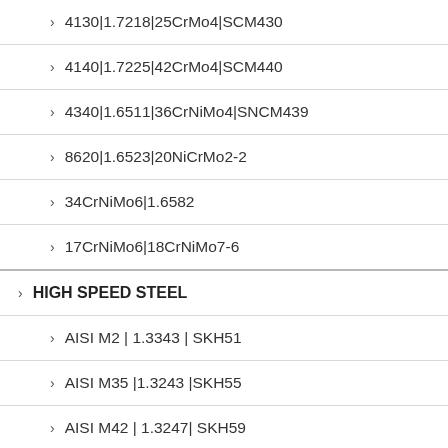4130|1.7218|25CrMo4|SCM430
4140|1.7225|42CrMo4|SCM440
4340|1.6511|36CrNiMo4|SNCM439
8620|1.6523|20NiCrMo2-2
34CrNiMo6|1.6582
17CrNiMo6|18CrNiMo7-6
HIGH SPEED STEEL
AISI M2 | 1.3343 | SKH51
AISI M35 |1.3243 |SKH55
AISI M42 | 1.3247| SKH59
AISI T4 | 1.3255 | SKH...